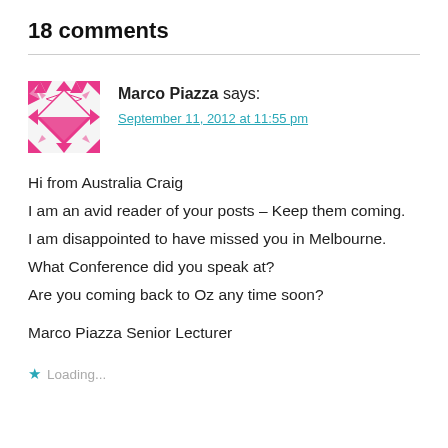18 comments
[Figure (illustration): Geometric avatar with pink/magenta diamond and triangle pattern]
Marco Piazza says: September 11, 2012 at 11:55 pm
Hi from Australia Craig
I am an avid reader of your posts – Keep them coming.
I am disappointed to have missed you in Melbourne.
What Conference did you speak at?
Are you coming back to Oz any time soon?

Marco Piazza Senior Lecturer
Loading...